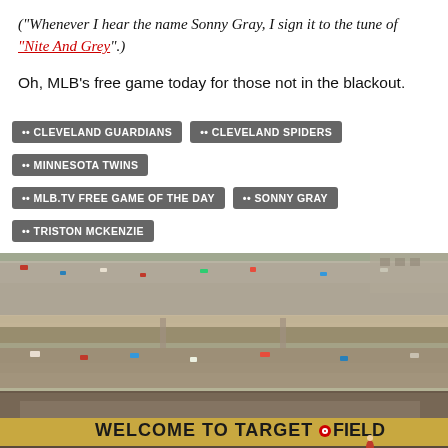("Whenever I hear the name Sonny Gray, I sign it to the tune of "Nite And Grey".)
Oh, MLB's free game today for those not in the blackout.
CLEVELAND GUARDIANS
CLEVELAND SPIDERS
MINNESOTA TWINS
MLB.TV FREE GAME OF THE DAY
SONNY GRAY
TRISTON MCKENZIE
[Figure (photo): Aerial view of Target Field baseball stadium with crowds in the stands. A banner reads 'Welcome to Target Field' in the lower section.]